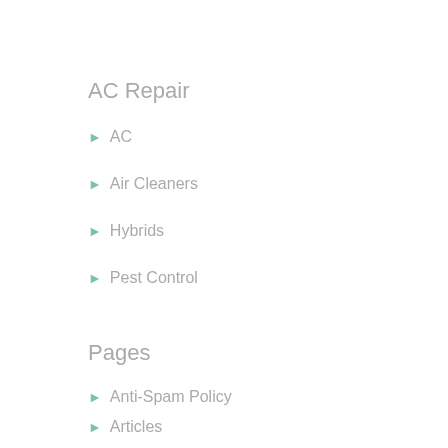AC Repair
AC
Air Cleaners
Hybrids
Pest Control
Pages
Anti-Spam Policy
Articles
Copyright Notice